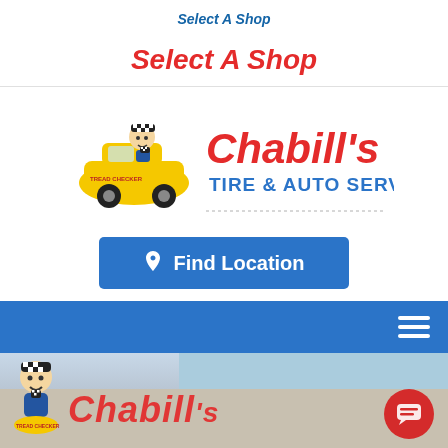Select A Shop
Select A Shop
[Figure (logo): Chabill's Tire & Auto Service logo with cartoon mascot in yellow car]
Find Location
[Figure (photo): Photo of Chabill's storefront sign with mascot illustration, blue sky visible in background. Blue navigation bar with hamburger menu icon overlaid. Red chat bubble button in lower right.]